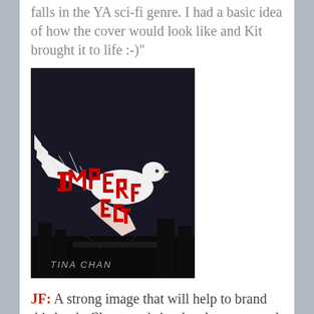falls in the YA sci-fi genre. I had a basic idea of how the cover would look like and Kit brought it to life :-)"
[Figure (photo): Book cover for 'IMPERFECT' by Tina Chan, featuring a white dove in flight against a dark background with the word IMPERFECT written in red block letters across the bird's wings.]
JF: A strong image that will help to brand this book. Clever and simple, always a good